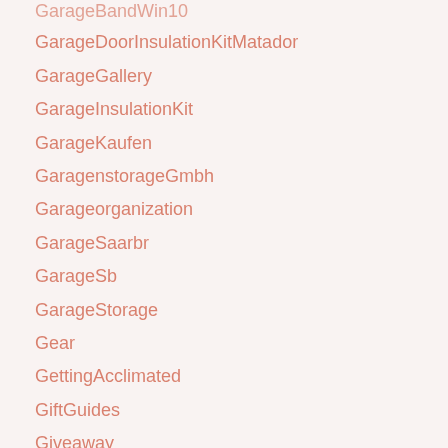GarageBandWin10
GarageDoorInsulationKitMatador
GarageGallery
GarageInsulationKit
GarageKaufen
GaragenstorageGmbh
Garageorganization
GarageSaarbr
GarageSb
GarageStorage
Gear
GettingAcclimated
GiftGuides
Giveaway
glass